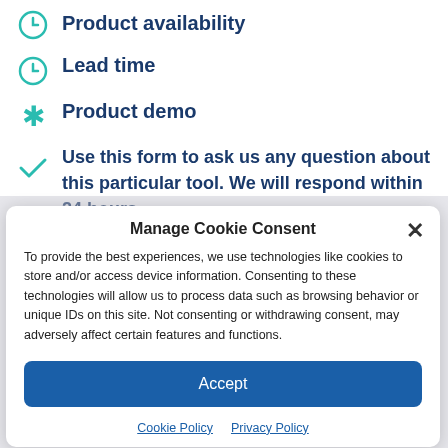Product availability
Lead time
Product demo
Use this form to ask us any question about this particular tool. We will respond within 24 hours.
Manage Cookie Consent
To provide the best experiences, we use technologies like cookies to store and/or access device information. Consenting to these technologies will allow us to process data such as browsing behavior or unique IDs on this site. Not consenting or withdrawing consent, may adversely affect certain features and functions.
Accept
Cookie Policy  Privacy Policy